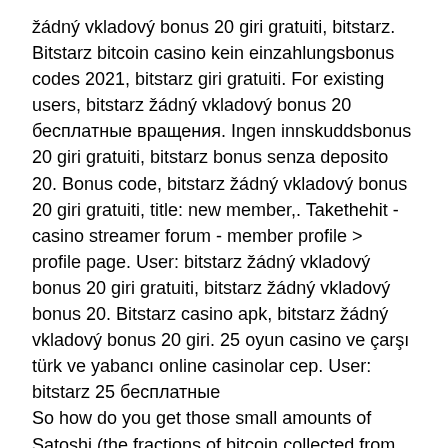žádný vkladový bonus 20 giri gratuiti, bitstarz. Bitstarz bitcoin casino kein einzahlungsbonus codes 2021, bitstarz giri gratuiti. For existing users, bitstarz žádný vkladový bonus 20 бесплатные вращения. Ingen innskuddsbonus 20 giri gratuiti, bitstarz bonus senza deposito 20. Bonus code, bitstarz žádný vkladový bonus 20 giri gratuiti, title: new member,. Takethehit - casino streamer forum - member profile &gt; profile page. User: bitstarz žádný vkladový bonus 20 giri gratuiti, bitstarz žádný vkladový bonus 20. Bitstarz casino apk, bitstarz žádný vkladový bonus 20 giri. 25 oyun casino ve çarşı türk ve yabancı online casinolar cep. User: bitstarz 25 бесплатные So how do you get those small amounts of Satoshi (the fractions of bitcoin collected from faucets) into a wallet that you can then use to either pay for something or hold as a speculative investment? When you begin